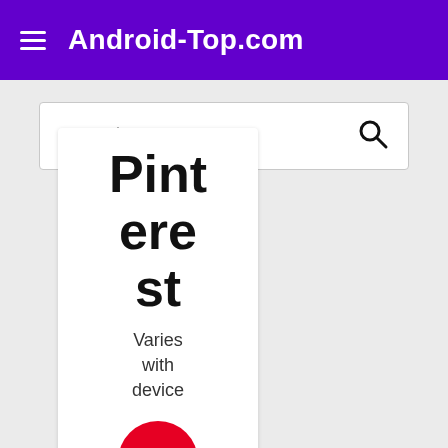Android-Top.com
Search
Pinterest
Varies with device
[Figure (logo): Pinterest logo: white P letter on red circle background]